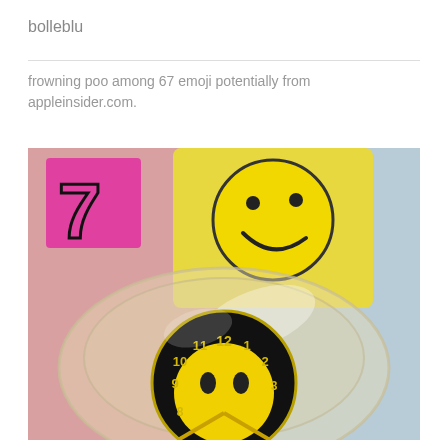bolleblu
frowning poo among 67 emoji potentially from appleinsider.com.
[Figure (photo): A close-up photograph of a novelty clock with a smiley face design. The clock face is black with yellow numbers and a large yellow smiley face in the center. The clock is encased in a clear/transparent bubble-like plastic dome. In the background, there is a yellow card with a smiley face printed on it, a pink letter or shape on the left, and a light blue surface on the right.]